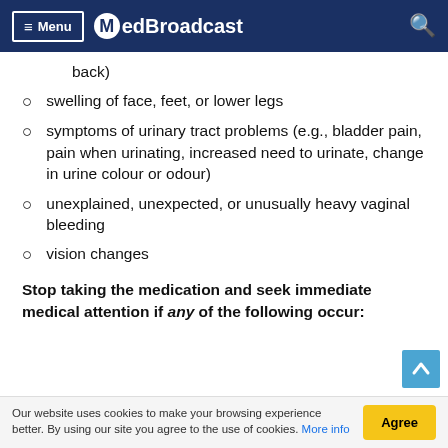Menu MedBroadcast
back)
swelling of face, feet, or lower legs
symptoms of urinary tract problems (e.g., bladder pain, pain when urinating, increased need to urinate, change in urine colour or odour)
unexplained, unexpected, or unusually heavy vaginal bleeding
vision changes
Stop taking the medication and seek immediate medical attention if any of the following occur:
Our website uses cookies to make your browsing experience better. By using our site you agree to the use of cookies. More info